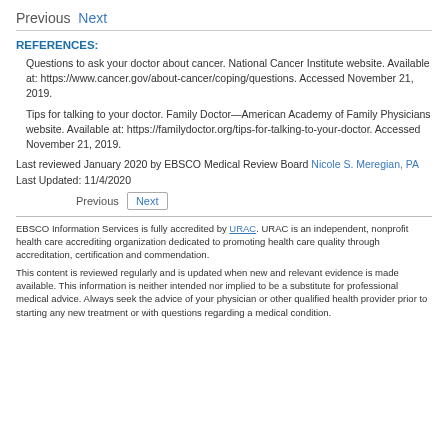Previous  Next
REFERENCES:
Questions to ask your doctor about cancer. National Cancer Institute website. Available at: https://www.cancer.gov/about-cancer/coping/questions. Accessed November 21, 2019.
Tips for talking to your doctor. Family Doctor—American Academy of Family Physicians website. Available at: https://familydoctor.org/tips-for-talking-to-your-doctor. Accessed November 21, 2019.
Last reviewed January 2020 by EBSCO Medical Review Board Nicole S. Meregian, PA
Last Updated: 11/4/2020
Previous  Next
EBSCO Information Services is fully accredited by URAC. URAC is an independent, nonprofit health care accrediting organization dedicated to promoting health care quality through accreditation, certification and commendation.
This content is reviewed regularly and is updated when new and relevant evidence is made available. This information is neither intended nor implied to be a substitute for professional medical advice. Always seek the advice of your physician or other qualified health provider prior to starting any new treatment or with questions regarding a medical condition.